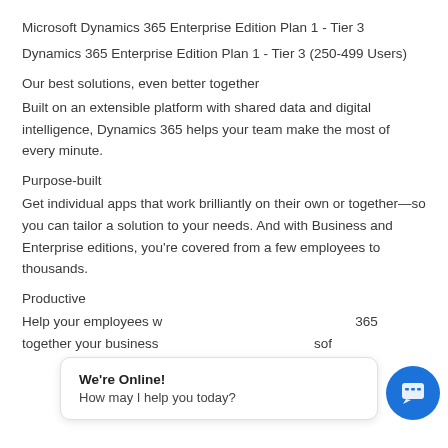Microsoft Dynamics 365 Enterprise Edition Plan 1 - Tier 3
Dynamics 365 Enterprise Edition Plan 1 - Tier 3 (250-499 Users)
Our best solutions, even better together
Built on an extensible platform with shared data and digital intelligence, Dynamics 365 helps your team make the most of every minute.
Purpose-built
Get individual apps that work brilliantly on their own or together—so you can tailor a solution to your needs. And with Business and Enterprise editions, you're covered from a few employees to thousands.
Productive
Help your employees w… 365 together your business p… sof